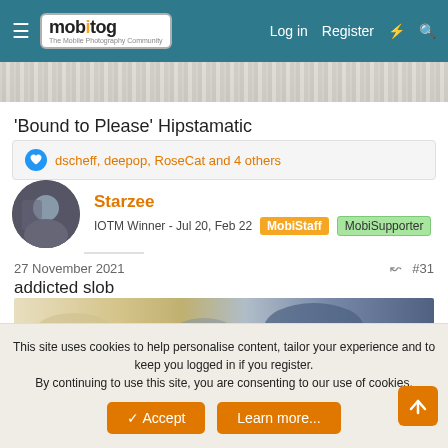mobitog — The Mobile Photography Community | Log in | Register
[Figure (photo): Partial image strip at top of page]
'Bound to Please' Hipstamatic
dscheff, deepop, RoseCat and 4 others
Starzee
IOTM Winner - Jul 20, Feb 22  MobiStaff  MobiSupporter
27 November 2021  #31
addicted slob
[Figure (photo): Close-up photo of textured surface with blue and cream/beige tones — likely lichen or peeling paint]
This site uses cookies to help personalise content, tailor your experience and to keep you logged in if you register.
By continuing to use this site, you are consenting to our use of cookies.
Accept  Learn more...